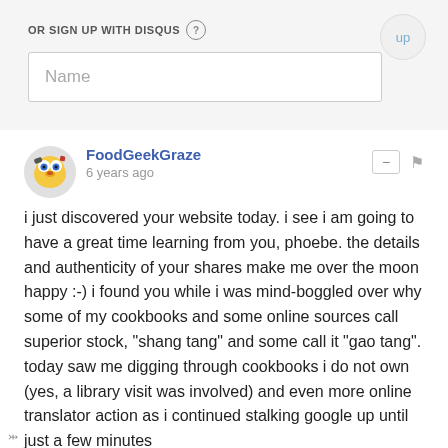OR SIGN UP WITH DISQUS ?
Name
FoodGeekGraze
6 years ago
i just discovered your website today. i see i am going to have a great time learning from you, phoebe. the details and authenticity of your shares make me over the moon happy :-) i found you while i was mind-boggled over why some of my cookbooks and some online sources call superior stock, "shang tang" and some call it "gao tang". today saw me digging through cookbooks i do not own (yes, a library visit was involved) and even more online translator action as i continued stalking google up until just a few minutes